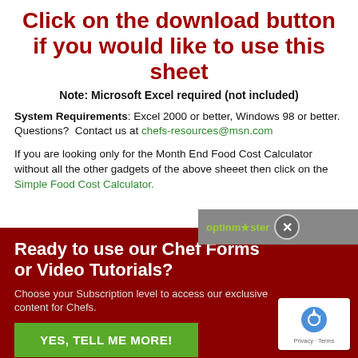Click on the download button if you would like to use this sheet
Note: Microsoft Excel required (not included)
System Requirements: Excel 2000 or better, Windows 98 or better. Questions? Contact us at chefs-resources@msn.com
If you are looking only for the Month End Food Cost Calculator without all the other gadgets of the above sheeet then click on the Simple Food Cost Calculator.
Ready to use our Chef Forms or Video Tutorials?
Choose your Subscription level to access our exclusive content for Chefs.
YES, TELL ME MORE!